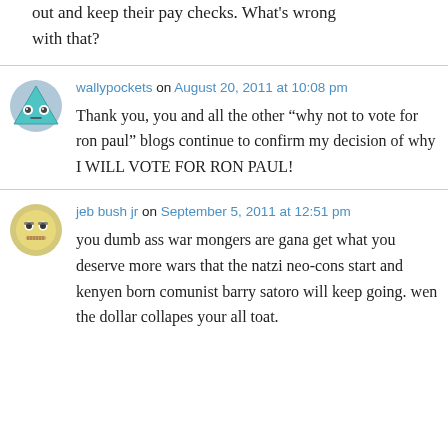out and keep their pay checks. What's wrong with that?
wallypockets on August 20, 2011 at 10:08 pm
Thank you, you and all the other “why not to vote for ron paul” blogs continue to confirm my decision of why I WILL VOTE FOR RON PAUL!
jeb bush jr on September 5, 2011 at 12:51 pm
you dumb ass war mongers are gana get what you deserve more wars that the natzi neo-cons start and kenyen born comunist barry satoro will keep going. wen the dollar collapes your all toat.